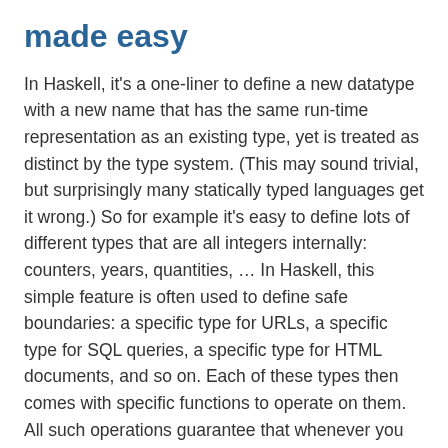made easy
In Haskell, it's a one-liner to define a new datatype with a new name that has the same run-time representation as an existing type, yet is treated as distinct by the type system. (This may sound trivial, but surprisingly many statically typed languages get it wrong.) So for example it's easy to define lots of different types that are all integers internally: counters, years, quantities, … In Haskell, this simple feature is often used to define safe boundaries: a specific type for URLs, a specific type for SQL queries, a specific type for HTML documents, and so on. Each of these types then comes with specific functions to operate on them. All such operations guarantee that whenever you have a value of this type, it's well-formed, and whenever you render a value of this type, it's syntactically correct and properly escaped.